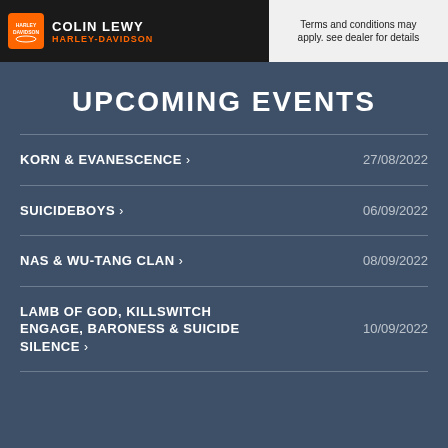[Figure (photo): Harley-Davidson advertisement banner with motorcycle image and 'COLIN LEWY HARLEY-DAVIDSON' text on dark background, with terms and conditions text on right side]
UPCOMING EVENTS
KORN & EVANESCENCE  27/08/2022
SUICIDEBOYS  06/09/2022
NAS & WU-TANG CLAN  08/09/2022
LAMB OF GOD, KILLSWITCH ENGAGE, BARONESS & SUICIDE SILENCE  10/09/2022